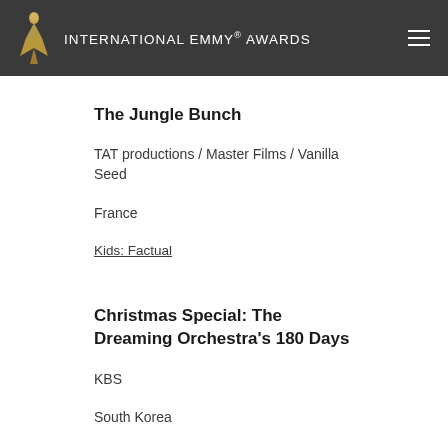INTERNATIONAL EMMY® AWARDS
The Jungle Bunch
TAT productions / Master Films / Vanilla Seed
France
Kids: Factual
Christmas Special: The Dreaming Orchestra's 180 Days
KBS
South Korea